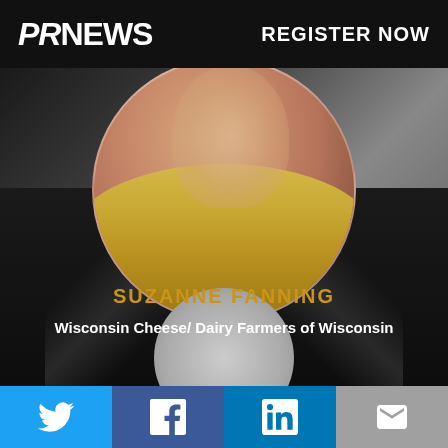PR NEWS   REGISTER NOW
[Figure (photo): Portrait photo of Suzanne Fanning, a blonde woman smiling, wearing a black jacket, shown in a circular crop over a dark background with a second circular element at the bottom]
SUZANNE FANNING
Wisconsin Cheese/ Dairy Farmers of Wisconsin
Twitter | Facebook | LinkedIn | Email social share buttons